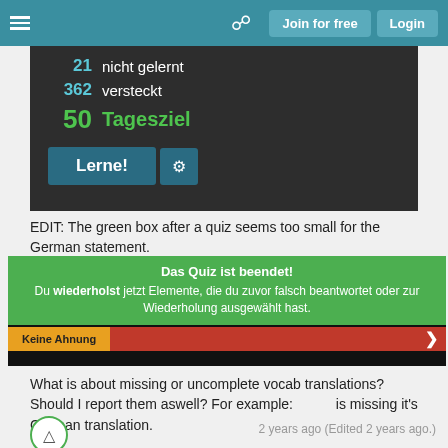Join for free  Login
[Figure (screenshot): Dark UI screenshot showing stats: 21 nicht gelernt, 362 versteckt, 50 Tagesziel, and a Lerne! button with gear icon]
EDIT: The green box after a quiz seems too small for the German statement.
[Figure (screenshot): Screenshot showing green banner with text: Das Quiz ist beendet! Du wiederholst jetzt Elemente, die du zuvor falsch beantwortet oder zur Wiederholung ausgewählt hast. Below: Keine Ahnung button and red area with arrow.]
What is about missing or uncomplete vocab translations? Should I report them aswell? For example: [image] is missing it's German translation.
0
2 years ago (Edited 2 years ago.)